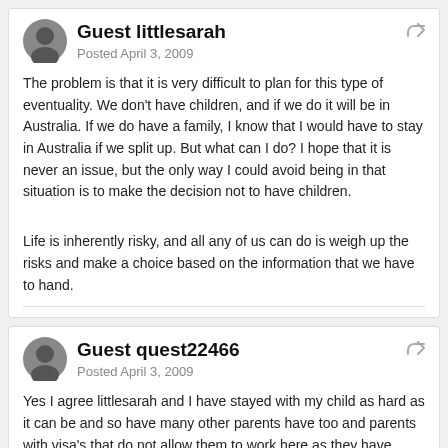Guest littlesarah — Posted April 3, 2009
The problem is that it is very difficult to plan for this type of eventuality. We don't have children, and if we do it will be in Australia. If we do have a family, I know that I would have to stay in Australia if we split up. But what can I do? I hope that it is never an issue, but the only way I could avoid being in that situation is to make the decision not to have children.
Life is inherently risky, and all any of us can do is weigh up the risks and make a choice based on the information that we have to hand.
Guest quest22466 — Posted April 3, 2009
Yes I agree littlesarah and I have stayed with my child as hard as it can be and so have many other parents have too and parents with visa's that do not allow them to work here as they have came on the now ex